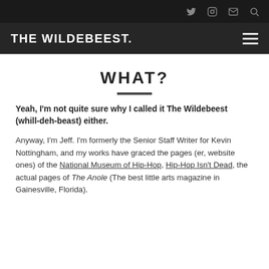THE WILDEBEEST.
WHAT?
Yeah, I'm not quite sure why I called it The Wildebeest (whill-deh-beast) either.
Anyway, I'm Jeff. I'm formerly the Senior Staff Writer for Kevin Nottingham, and my works have graced the pages (er, website ones) of the National Museum of Hip-Hop, Hip-Hop Isn't Dead, the actual pages of The Anole (The best little arts magazine in Gainesville, Florida).